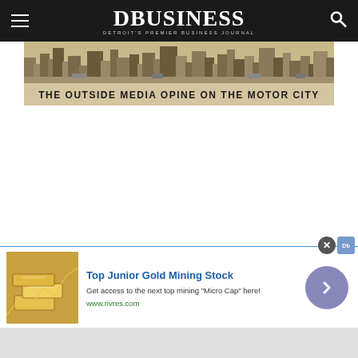DBusiness — Detroit's Premier Business Journal
[Figure (illustration): Banner image with sketch of Detroit cityscape and text: THE OUTSIDE MEDIA OPINE ON THE MOTOR CITY]
[Figure (infographic): Advertisement banner: Top Junior Gold Mining Stock. Get access to the next top mining Micro Cap here! www.rivres.com — with gold bars image and arrow button]